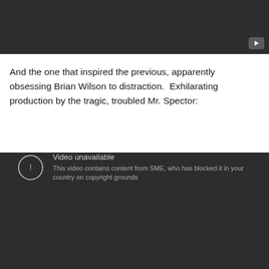[Figure (screenshot): YouTube video embed showing a dark video player with a play button in the bottom right corner]
And the one that inspired the previous, apparently obsessing Brian Wilson to distraction.  Exhilarating production by the tragic, troubled Mr. Spector:
[Figure (screenshot): YouTube video embed showing 'Video unavailable' error message: 'This video contains content from SME, who has blocked it in your country on copyright grounds']